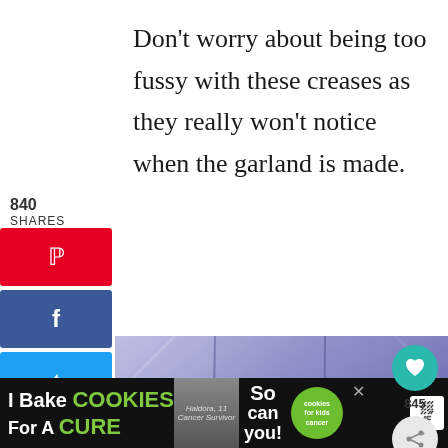Don't worry about being too fussy with these creases as they really won't notice when the garland is made.
840
SHARES
[Figure (photo): Purple/blue plastic tablecloth or trash bag folded flat on a surface showing a grid of crease lines from being folded in thirds both horizontally and vertically]
845
I Bake COOKIES For A CURE Haldora, 11 Cancer Survivor So can you! cookies for kids cancer